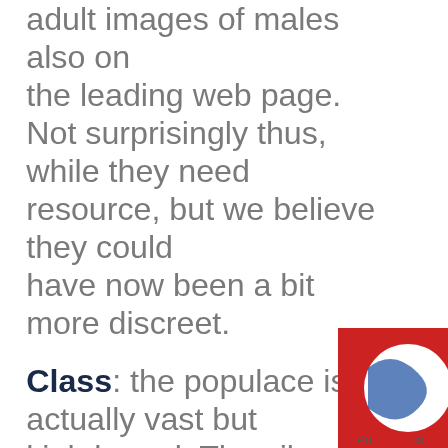adult images of males also on the leading web page. Not surprisingly thus, while they need resource, but we believe they could have now been a bit more discreet.
Class: the populace is actually vast but kink-based. The silver foxes and kids available listed here are in the highest percentage from United States and Canada.
Scam-meter: The site's registration process is free and simple. Therefore, it includes